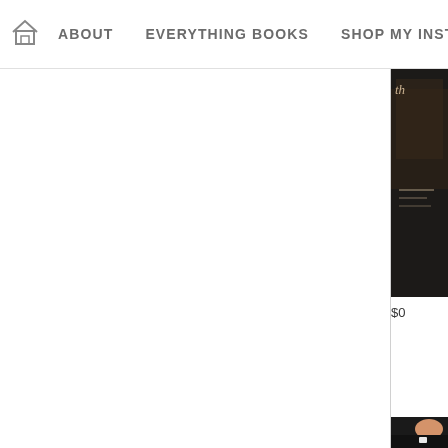ABOUT   EVERYTHING BOOKS   SHOP MY INSTA
[Figure (photo): Dark book cover partially visible in top-right corner]
$0
[Figure (photo): Person photo partially visible at bottom-right]